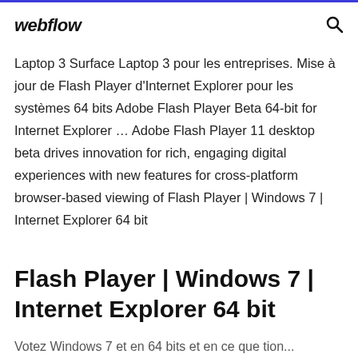webflow
Laptop 3 Surface Laptop 3 pour les entreprises. Mise à jour de Flash Player d'Internet Explorer pour les systèmes 64 bits Adobe Flash Player Beta 64-bit for Internet Explorer … Adobe Flash Player 11 desktop beta drives innovation for rich, engaging digital experiences with new features for cross-platform browser-based viewing of Flash Player | Windows 7 | Internet Explorer 64 bit
Flash Player | Windows 7 | Internet Explorer 64 bit